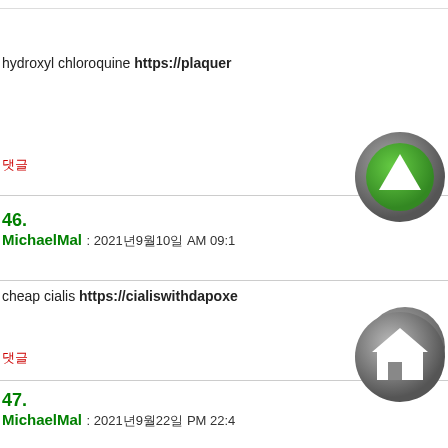hydroxyl chloroquine https://plaquer...
댓글
46. MichaelMal : 2021년9월10일 AM 09:1...
cheap cialis https://cialiswithdapoxe...
댓글
47. MichaelMal : 2021년9월22일 PM 22:4...
buy cialis online https://cialiswithdap...
댓글